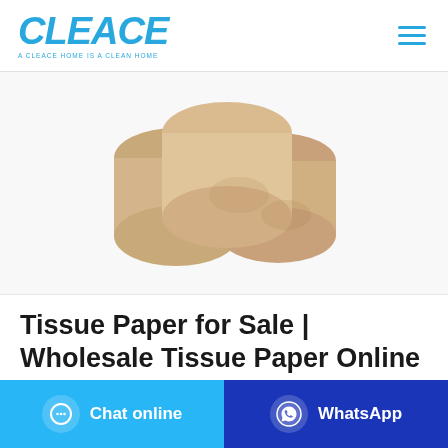[Figure (logo): CLEACE logo in bold italic blue text with tagline 'A CLEACE HOME IS A CLEAN HOME']
[Figure (photo): Three brown/tan tissue paper rolls stacked in a pyramid formation on a white background]
Tissue Paper for Sale | Wholesale Tissue Paper Online
Chat online
WhatsApp